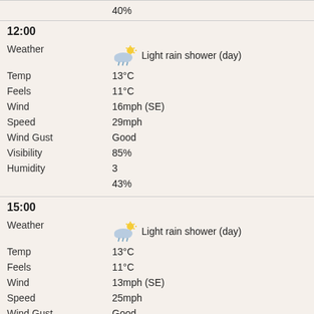|  | 40% |
| 12:00 |  |
| Weather | Light rain shower (day) |
| Temp | 13°C |
| Feels | 11°C |
| Wind | 16mph (SE) |
| Speed | 29mph |
| Wind Gust | Good |
| Visibility | 85% |
| Humidity | 3 |
|  | 43% |
| 15:00 |  |
| Weather | Light rain shower (day) |
| Temp | 13°C |
| Feels | 11°C |
| Wind | 13mph (SE) |
| Speed | 25mph |
| Wind Gust | Good |
| Visibility | 82% |
| Humidity | 2 |
|  | 38% |
| 18:00 |  |
| Weather | Cloudy (Medium-Level) |
| Temp | 12°C |